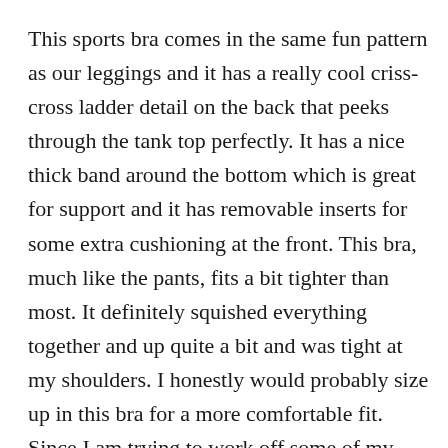This sports bra comes in the same fun pattern as our leggings and it has a really cool criss-cross ladder detail on the back that peeks through the tank top perfectly. It has a nice thick band around the bottom which is great for support and it has removable inserts for some extra cushioning at the front. This bra, much like the pants, fits a bit tighter than most. It definitely squished everything together and up quite a bit and was tight at my shoulders. I honestly would probably size up in this bra for a more comfortable fit. Since I am trying to work off some of my 2020 weight gain, I think this will just sit in my drawer as a goal bra for now. I